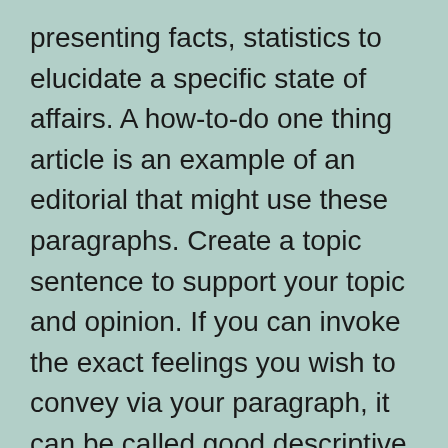presenting facts, statistics to elucidate a specific state of affairs. A how-to-do one thing article is an example of an editorial that might use these paragraphs. Create a topic sentence to support your topic and opinion. If you can invoke the exact feelings you wish to convey via your paragraph, it can be called good descriptive writing. It should include all the primary points to attraction to all of the senses of the reader.
A subject sentence is a brief sentence that accommodates the content material to be mentioned, but in summary kind, it merely